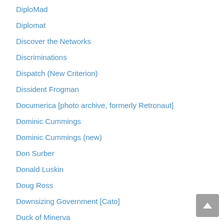DiploMad
Diplomat
Discover the Networks
Discriminations
Dispatch (New Criterion)
Dissident Frogman
Documerica [photo archive, formerly Retronaut]
Dominic Cummings
Dominic Cummings (new)
Don Surber
Donald Luskin
Doug Ross
Downsizing Government [Cato]
Duck of Minerva